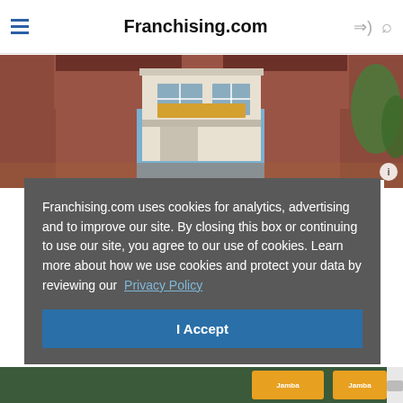Franchising.com
[Figure (photo): Building exterior photo showing brick facade with windows and blue sky]
Phenix Salon Suites
Franchising.com uses cookies for analytics, advertising and to improve our site. By closing this box or continuing to use our site, you agree to our use of cookies. Learn more about how we use cookies and protect your data by reviewing our Privacy Policy
I Accept